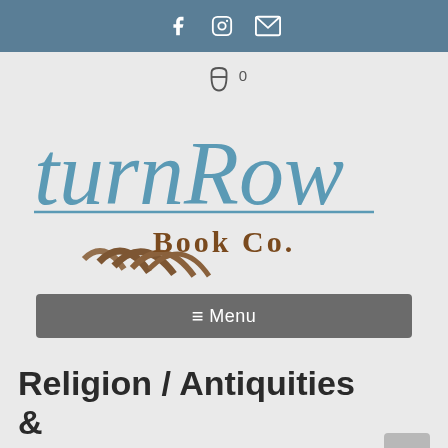Social media icons: Facebook, Instagram, Email
[Figure (logo): TurnRow Book Co. logo with blue cursive script and brown agricultural furrow illustration]
≡ Menu
Religion / Antiquities & Archaeology